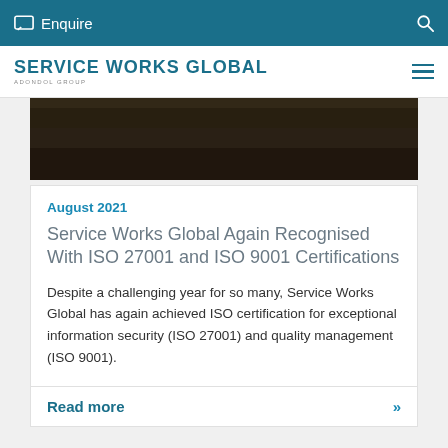Enquire
[Figure (logo): Service Works Global logo with tagline ADONDOL GROUP]
[Figure (photo): Dark background hero image, partially visible at top]
August 2021
Service Works Global Again Recognised With ISO 27001 and ISO 9001 Certifications
Despite a challenging year for so many, Service Works Global has again achieved ISO certification for exceptional information security (ISO 27001) and quality management (ISO 9001).
Read more »